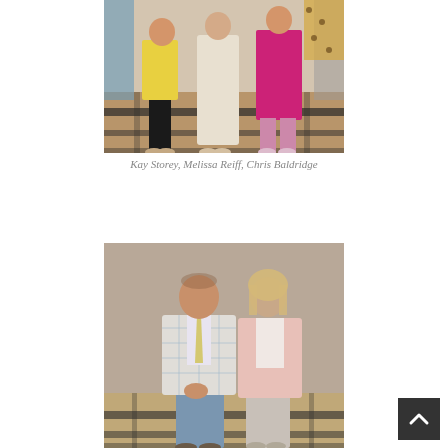[Figure (photo): Three women standing together. One in yellow outfit, one in cream/white dress, one in bright pink/magenta dress. Indoor setting with wood floor and dark striped rug.]
Kay Storey, Melissa Reiff, Chris Baldridge
[Figure (photo): A man in a plaid sport coat with light blue tie and a woman in a light pink blazer standing together indoors. Wood floor with dark striped rug visible.]